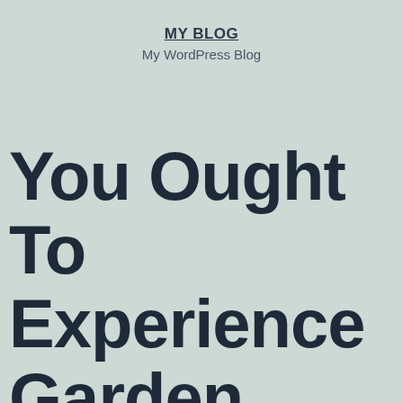MY BLOG
My WordPress Blog
You Ought To Experience Garden Grills A Minimum Of